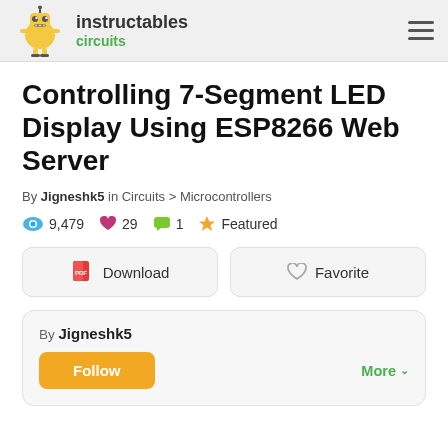instructables circuits
Controlling 7-Segment LED Display Using ESP8266 Web Server
By Jigneshk5 in Circuits > Microcontrollers
9,479 views  29 favorites  1 comment  Featured
Download  Favorite
By Jigneshk5  Follow  More